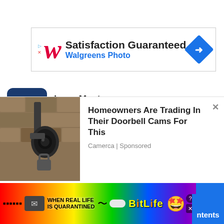[Figure (screenshot): Walgreens Photo advertisement banner with Walgreens cursive W logo and blue diamond icon with right arrow. Text: Satisfaction Guaranteed / Walgreens Photo]
Lean Meat
Food  proteins,  steak,  duck,  lean-meat
[Figure (screenshot): Security camera mounted on stone wall - photo for doorbell cam advertisement]
Homeowners Are Trading In Their Doorbell Cams For This
Camerca | Sponsored
[Figure (screenshot): BitLife game advertisement banner with rainbow background, quarantine text, and masked emoji. Text: WHEN REAL LIFE IS QUARANTINED / BitLife. Also shows ntents tab on right.]